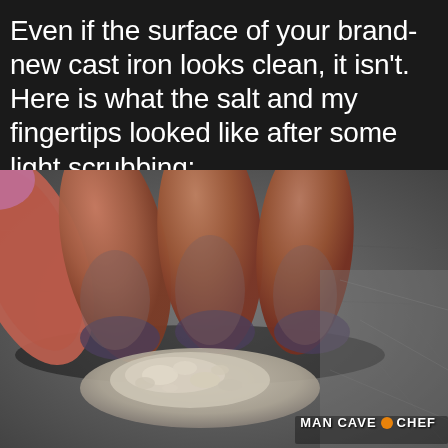Even if the surface of your brand-new cast iron looks clean, it isn't. Here is what the salt and my fingertips looked like after some light scrubbing:
[Figure (photo): Close-up photo of dirty fingertips pressing on a cast iron surface with dirty gray salt residue visible, showing grime picked up from scrubbing a brand-new cast iron pan. Watermark reads MAN CAVE CHEF with an orange dot.]